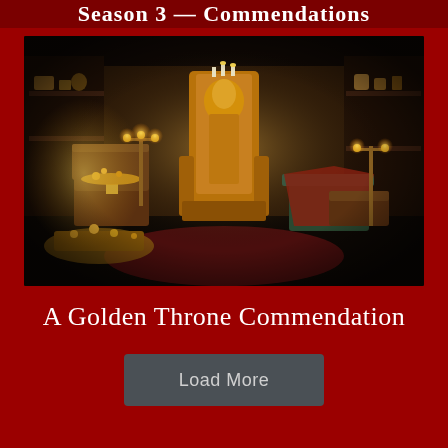Season 3 — Commendations
[Figure (illustration): A fantasy game scene showing a dimly lit treasure room with a golden ornate throne in the center, surrounded by treasure chests, gold coins, and various artifacts on wooden shelves. Warm candlelight illuminates the scene.]
A Golden Throne Commendation
Load More